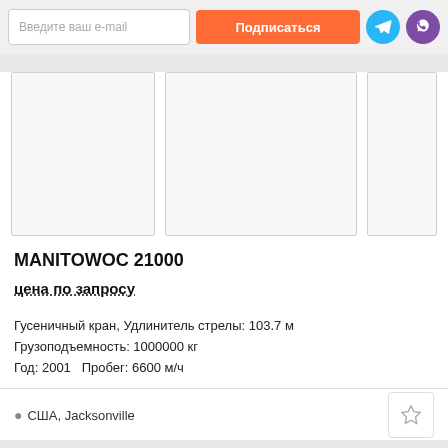[Figure (screenshot): Email subscription bar with input field 'Введите ваш e-mail', orange button 'Подписаться', Telegram icon button (blue), and Viber icon button (purple)]
[Figure (photo): Three placeholder image boxes for product listing photos]
MANITOWOC 21000
цена по запросу
Гусеничный кран, Удлинитель стрелы: 103.7 м
Грузоподъемность: 1000000 кг
Год: 2001   Пробег: 6600 м/ч
США, Jacksonville